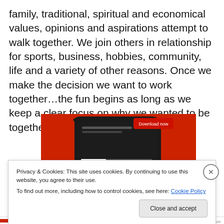family, traditional, spiritual and economical values, opinions and aspirations attempt to walk together. We join others in relationship for sports, business, hobbies, community, life and a variety of other reasons. Once we make the decision we want to work together…the fun begins as long as we keep a clear focus on why we wanted to be together in the first place.
[Figure (screenshot): A smartphone with a red case on a red background, displaying a music or podcast app interface. A 'Download now' button appears in the top right on the image.]
Privacy & Cookies: This site uses cookies. By continuing to use this website, you agree to their use.
To find out more, including how to control cookies, see here: Cookie Policy
Close and accept